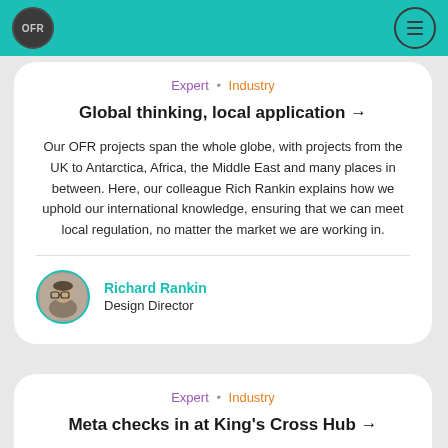OFR
Expert · Industry
Global thinking, local application →
Our OFR projects span the whole globe, with projects from the UK to Antarctica, Africa, the Middle East and many places in between. Here, our colleague Rich Rankin explains how we uphold our international knowledge, ensuring that we can meet local regulation, no matter the market we are working in.
Richard Rankin
Design Director
Expert · Industry
Meta checks in at King's Cross Hub →